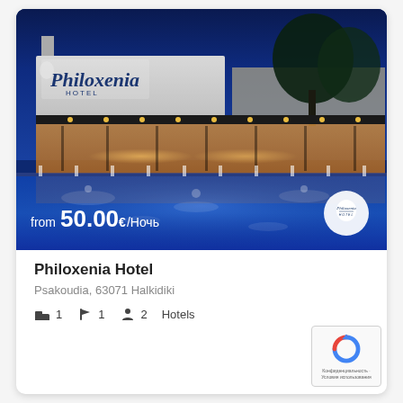[Figure (photo): Hotel Philoxenia exterior photo at night showing building with pool reflection, illuminated restaurant terrace, and Philoxenia Hotel sign. Price overlay shows 'from 50.00€/Ночь' and hotel logo circle bottom right.]
Philoxenia Hotel
Psakoudia, 63071 Halkidiki
🛏 1   🚩 1   👤 2   Hotels